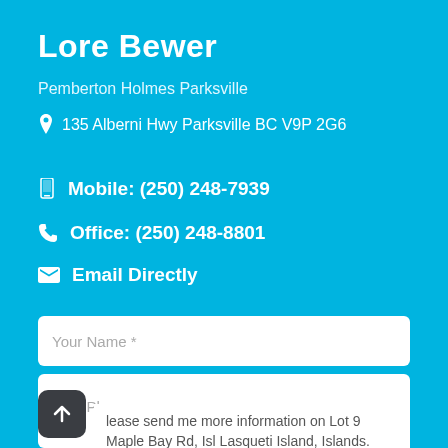Lore Bewer
Pemberton Holmes Parksville
135 Alberni Hwy Parksville BC V9P 2G6
Mobile: (250) 248-7939
Office: (250) 248-8801
Email Directly
Your Name *
Your Email *
Your Phone
Please send me more information on Lot 9 Maple Bay Rd, Isl Lasqueti Island, Islands. Thank you.